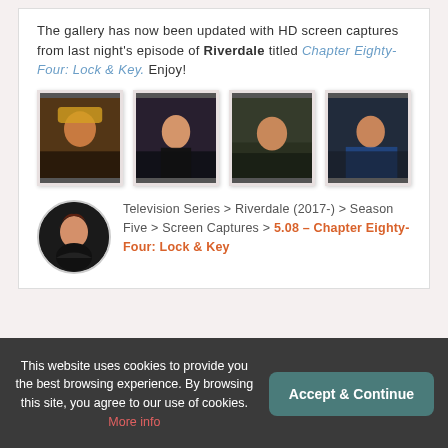The gallery has now been updated with HD screen captures from last night's episode of Riverdale titled Chapter Eighty-Four: Lock & Key. Enjoy!
[Figure (photo): Four dark thumbnail screenshots from Riverdale episode showing character close-ups]
[Figure (photo): Circular avatar portrait of a Riverdale character with dark hair]
Television Series > Riverdale (2017-) > Season Five > Screen Captures > 5.08 – Chapter Eighty-Four: Lock & Key
« PREVIOUS  1  2  3  4  5  6  NEXT »
This website uses cookies to provide you the best browsing experience. By browsing this site, you agree to our use of cookies. More info